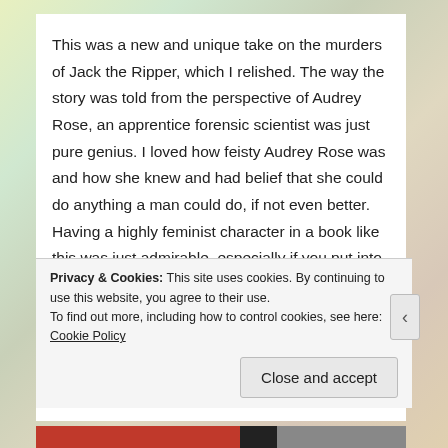This was a new and unique take on the murders of Jack the Ripper, which I relished. The way the story was told from the perspective of Audrey Rose, an apprentice forensic scientist was just pure genius. I loved how feisty Audrey Rose was and how she knew and had belief that she could do anything a man could do, if not even better. Having a highly feminist character in a book like this was just admirable, especially if you put into the account the expected roles of women in 1800's. Also, I want to mention Thomas Cresswell, the arrogant but charming young man and my new fictional bae. I loved his character from the
Privacy & Cookies: This site uses cookies. By continuing to use this website, you agree to their use. To find out more, including how to control cookies, see here: Cookie Policy
Close and accept